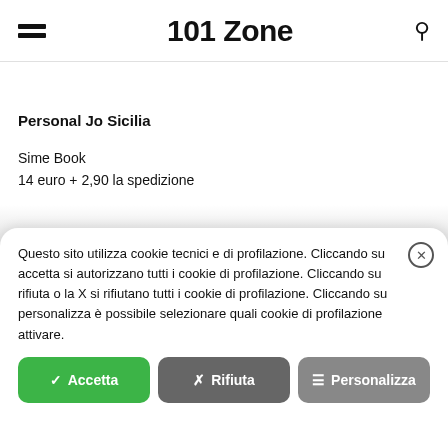101 Zone
Personal Jo Sicilia
Sime Book
14 euro + 2,90 la spedizione
Questo sito utilizza cookie tecnici e di profilazione. Cliccando su accetta si autorizzano tutti i cookie di profilazione. Cliccando su rifiuta o la X si rifiutano tutti i cookie di profilazione. Cliccando su personalizza è possibile selezionare quali cookie di profilazione attivare.
Accetta | Rifiuta | Personalizza